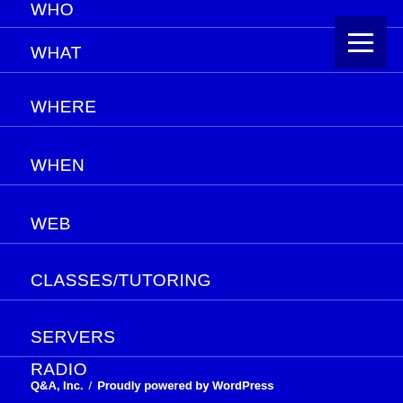WHO
WHAT
WHERE
WHEN
WEB
CLASSES/TUTORING
SERVERS
RADIO
Q&A, Inc.  /  Proudly powered by WordPress